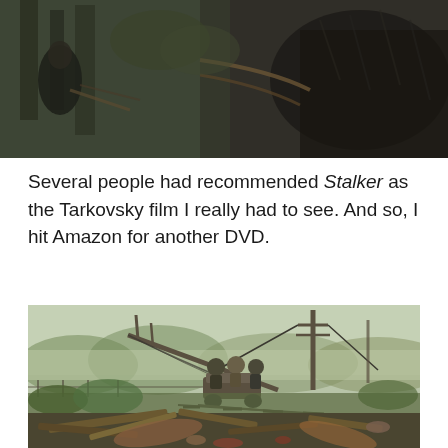[Figure (photo): Top portion of a film still from Stalker by Tarkovsky, showing a person near trees and what appears to be a horse or large dark figure on the right side, in muted, desaturated tones.]
Several people had recommended Stalker as the Tarkovsky film I really had to see. And so, I hit Amazon for another DVD.
[Figure (photo): Film still from Stalker by Tarkovsky showing three people riding on a small rail vehicle through a foggy, post-industrial landscape with fallen telegraph poles, railroad tracks, overgrown vegetation, and scattered debris in the foreground.]